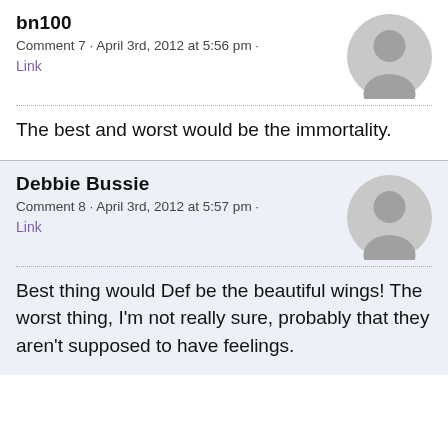bn100
Comment 7 · April 3rd, 2012 at 5:56 pm ·
Link
The best and worst would be the immortality.
Debbie Bussie
Comment 8 · April 3rd, 2012 at 5:57 pm ·
Link
Best thing would Def be the beautiful wings! The worst thing, I'm not really sure, probably that they aren't supposed to have feelings.